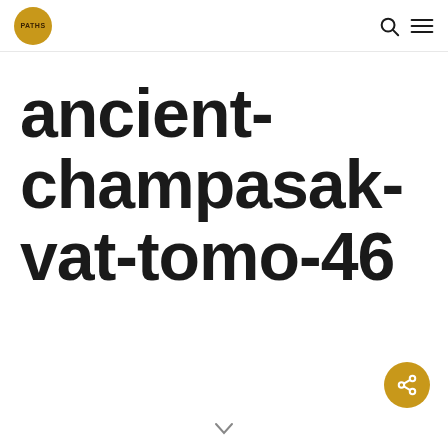PATHS
ancient-champasak-vat-tomo-46